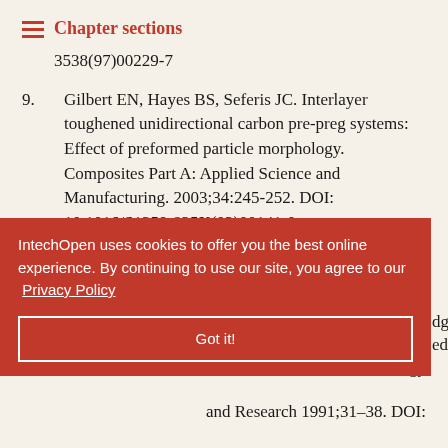Chapter sections
3538(97)00229-7
9. Gilbert EN, Hayes BS, Seferis JC. Interlayer toughened unidirectional carbon pre-preg systems: Effect of preformed particle morphology. Composites Part A: Applied Science and Manufacturing. 2003;34:245-252. DOI: 10.1016/S1359-835X(02)00141-0
10. Mouritz AP. Review of z-pinned composite laminates. Composites Part A: Applied Science and ... 397. DOI: ...
IntechOpen uses cookies to offer you the best online experience. By continuing to use our site, you agree to our Privacy Policy
Got it!